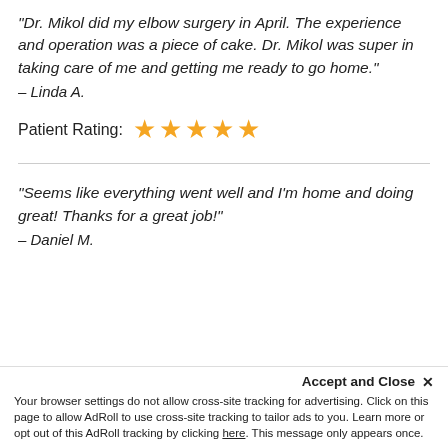“Dr. Mikol did my elbow surgery in April. The experience and operation was a piece of cake. Dr. Mikol was super in taking care of me and getting me ready to go home.”
– Linda A.
Patient Rating: ★★★★★
“Seems like everything went well and I’m home and doing great! Thanks for a great job!”
– Daniel M.
Accept and Close × Your browser settings do not allow cross-site tracking for advertising. Click on this page to allow AdRoll to use cross-site tracking to tailor ads to you. Learn more or opt out of this AdRoll tracking by clicking here. This message only appears once.